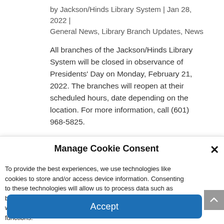by Jackson/Hinds Library System | Jan 28, 2022 | General News, Library Branch Updates, News
All branches of the Jackson/Hinds Library System will be closed in observance of Presidents' Day on Monday, February 21, 2022. The branches will reopen at their scheduled hours, date depending on the location. For more information, call (601) 968-5825.
Manage Cookie Consent
To provide the best experiences, we use technologies like cookies to store and/or access device information. Consenting to these technologies will allow us to process data such as browsing behavior or unique IDs on this site. Not consenting or withdrawing consent, may adversely affect certain features and functions.
Accept